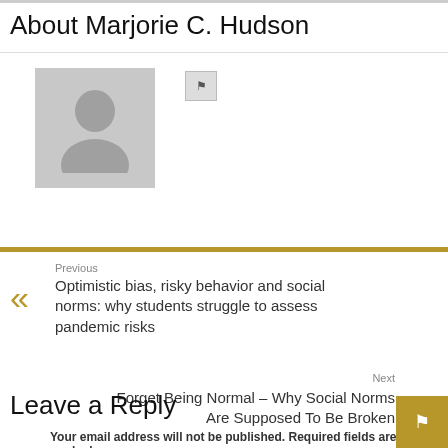About Marjorie C. Hudson
[Figure (photo): Default avatar placeholder image (grey silhouette of a person on grey background)]
Previous
Optimistic bias, risky behavior and social norms: why students struggle to assess pandemic risks
Next
Forget Being Normal – Why Social Norms Are Supposed To Be Broken
Leave a Reply
Your email address will not be published. Required fields are marked